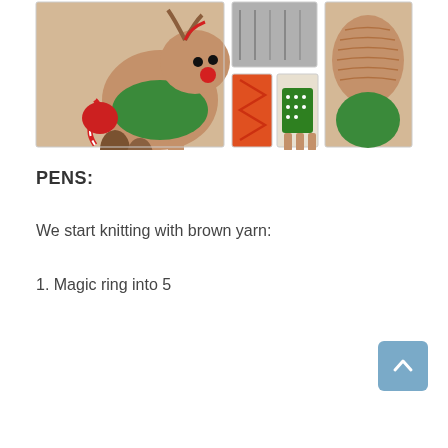[Figure (photo): Collage of crochet reindeer toy photos: a finished reindeer amigurumi with red nose, green sweater, brown body, candy cane and pine cones in the foreground (left large image); and several progress/detail shots on the right showing the green sweater, legs assembly, and body construction steps.]
PENS:
We start knitting with brown yarn:
1. Magic ring into 5